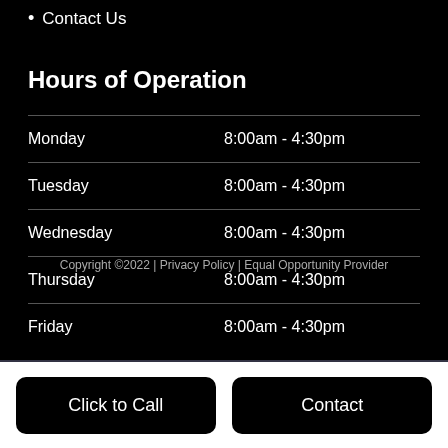Contact Us
Hours of Operation
| Day | Hours |
| --- | --- |
| Monday | 8:00am - 4:30pm |
| Tuesday | 8:00am - 4:30pm |
| Wednesday | 8:00am - 4:30pm |
| Thursday | 8:00am - 4:30pm |
| Friday | 8:00am - 4:30pm |
Copyright ©2022 | Privacy Policy | Equal Opportunity Provider
Click to Call
Contact